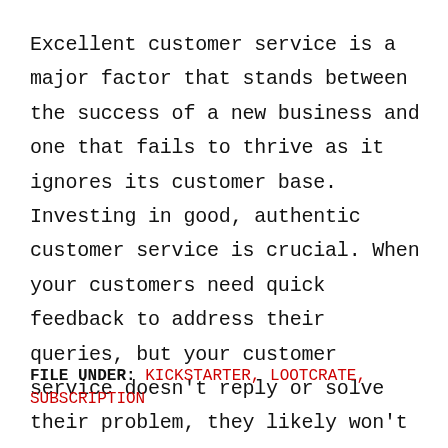Excellent customer service is a major factor that stands between the success of a new business and one that fails to thrive as it ignores its customer base. Investing in good, authentic customer service is crucial. When your customers need quick feedback to address their queries, but your customer service doesn't reply or solve their problem, they likely won't stick around any longer.
FILE UNDER: KICKSTARTER, LOOTCRATE, SUBSCRIPTION